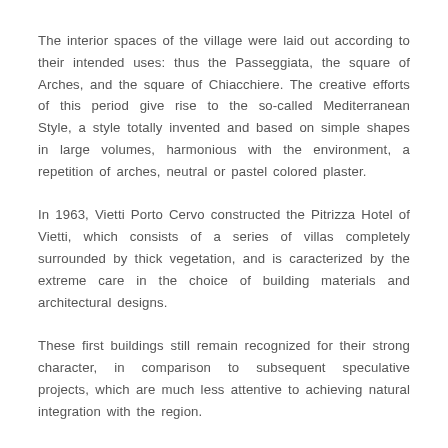The interior spaces of the village were laid out according to their intended uses: thus the Passeggiata, the square of Arches, and the square of Chiacchiere. The creative efforts of this period give rise to the so-called Mediterranean Style, a style totally invented and based on simple shapes in large volumes, harmonious with the environment, a repetition of arches, neutral or pastel colored plaster.
In 1963, Vietti Porto Cervo constructed the Pitrizza Hotel of Vietti, which consists of a series of villas completely surrounded by thick vegetation, and is caracterized by the extreme care in the choice of building materials and architectural designs.
These first buildings still remain recognized for their strong character, in comparison to subsequent speculative projects, which are much less attentive to achieving natural integration with the region.